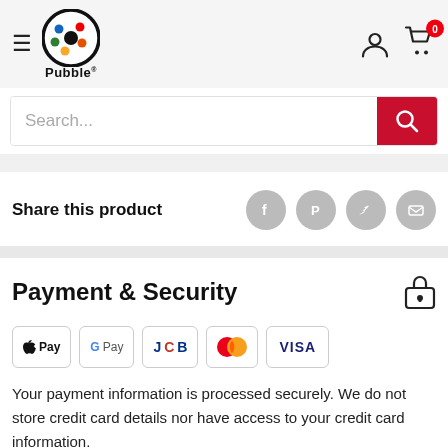[Figure (logo): Pubble logo: black circle with colorful dots (red, yellow, blue, green) and central black dot, with 'Pubble' text below]
[Figure (screenshot): Search bar with placeholder 'Search...' and red search button with magnifying glass icon]
Share this product
Payment & Security
[Figure (infographic): Payment method logos: Apple Pay, Google Pay, JCB, Mastercard, Visa]
Your payment information is processed securely. We do not store credit card details nor have access to your credit card information.